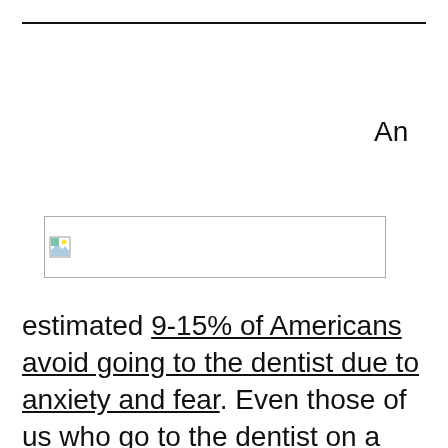[Figure (illustration): Broken/missing image placeholder with small landscape icon in top-left corner, followed by text 'An']
An estimated 9-15% of Americans avoid going to the dentist due to anxiety and fear. Even those of us who go to the dentist on a regular basis sometimes fail to practice good oral hygiene. Studies have found that, of adults age 30 and